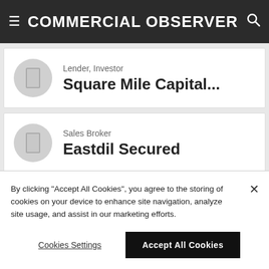Commercial Observer
Lender, Investor
Square Mile Capital...
Sales Broker
Eastdil Secured
Tenant
KKR
By clicking "Accept All Cookies", you agree to the storing of cookies on your device to enhance site navigation, analyze site usage, and assist in our marketing efforts.
Cookies Settings
Accept All Cookies